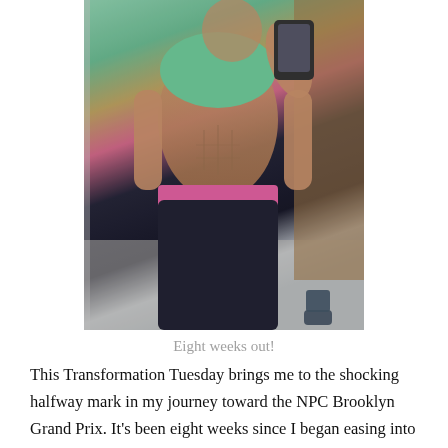[Figure (photo): A fitness selfie photo of a muscular woman in a green sports bra and pink/black workout pants taking a mirror selfie in a gym locker room. She is showing her abs. A water bottle is visible to the right.]
Eight weeks out!
This Transformation Tuesday brings me to the shocking halfway mark in my journey toward the NPC Brooklyn Grand Prix. It's been eight weeks since I began easing into prep mode using my coach Jen's nutrition and training programs. In the beginning, I had a little wiggle room and a few “cheat” meals factored in for special occasions. Fast forward to today, and the calendar shows just about eight